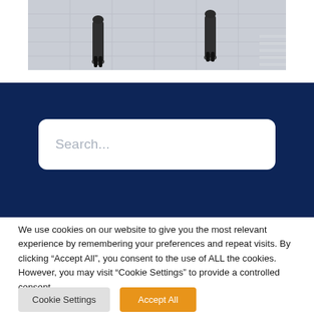[Figure (photo): Aerial/top-down photo of people walking on a tiled floor, shown partially at top of page]
[Figure (screenshot): Dark navy blue search bar banner with a white rounded search input field containing placeholder text 'Search...']
We use cookies on our website to give you the most relevant experience by remembering your preferences and repeat visits. By clicking "Accept All", you consent to the use of ALL the cookies. However, you may visit "Cookie Settings" to provide a controlled consent.
Cookie Settings
Accept All